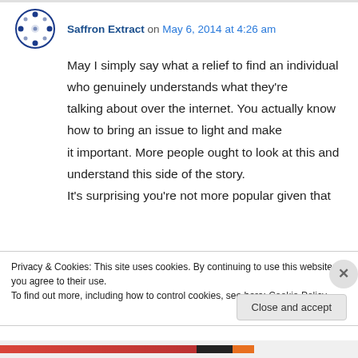Saffron Extract on May 6, 2014 at 4:26 am
May I simply say what a relief to find an individual who genuinely understands what they're talking about over the internet. You actually know how to bring an issue to light and make it important. More people ought to look at this and understand this side of the story. It's surprising you're not more popular given that
Privacy & Cookies: This site uses cookies. By continuing to use this website, you agree to their use.
To find out more, including how to control cookies, see here: Cookie Policy
Close and accept